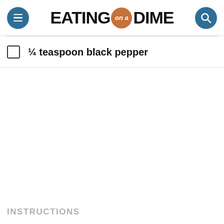EATING on a DIME
¼ teaspoon black pepper
INSTRUCTIONS